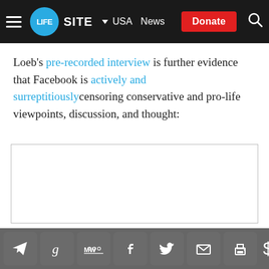LifeSite — USA | News | Donate
Loeb's pre-recorded interview is further evidence that Facebook is actively and surreptitiously censoring conservative and pro-life viewpoints, discussion, and thought:
[Figure (other): Embedded video or content box with light border, content not visible]
Social share icons: Telegram, Goodreads, MeWe, Facebook, Twitter, Email, Print; Dollar sign icon